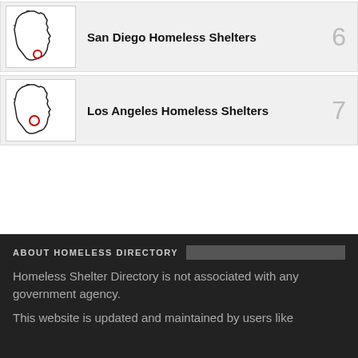[Figure (map): California state outline with red circle marker near San Diego]
San Diego Homeless Shelters
6
[Figure (map): California state outline with red circle marker near Los Angeles]
Los Angeles Homeless Shelters
7
ABOUT HOMELESS DIRECTORY
Homeless Shelter Directory is not associated with any government agency.
This website is updated and maintained by users like